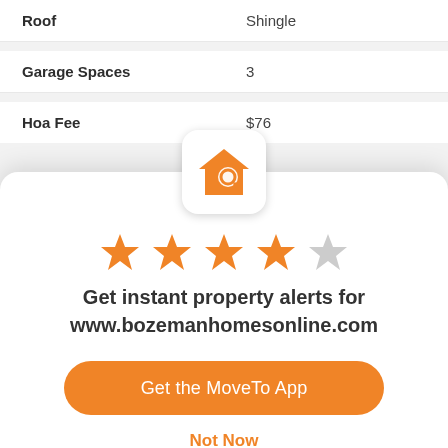| Property | Value |
| --- | --- |
| Roof | Shingle |
| Garage Spaces | 3 |
| Hoa Fee | $76 |
[Figure (logo): App icon with orange house and magnifying glass]
[Figure (other): 4 out of 5 stars rating, orange filled stars with one grey star]
Get instant property alerts for www.bozemanhomesonline.com
Get the MoveTo App
Not Now